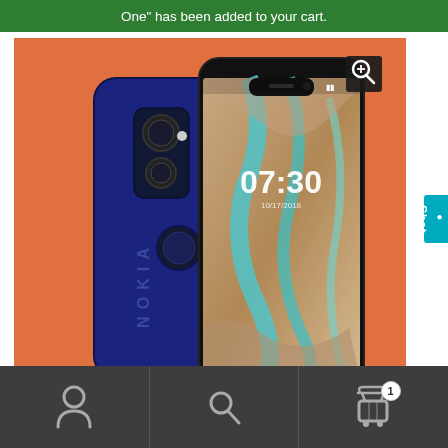One" has been added to your cart.
[Figure (photo): Nokia smartphone shown from back and front on an orange background. Back shows dual camera and fingerprint sensor. Front shows lock screen with time 07:30 and a landscape wallpaper.]
Chat
Bottom navigation bar with person icon, search icon, and shopping cart icon with badge showing 1